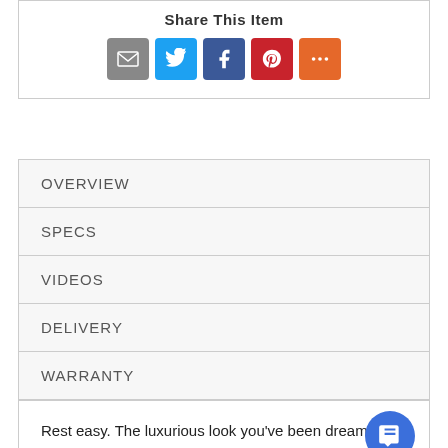Share This Item
[Figure (infographic): Social share icons: Email (gray), Twitter (blue), Facebook (dark blue), Pinterest (red), More (orange)]
OVERVIEW
SPECS
VIDEOS
DELIVERY
WARRANTY
Rest easy. The luxurious look you've been dreaming of is yours for the taking-at a price